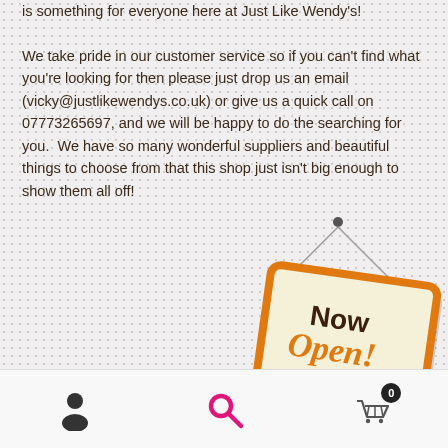is something for everyone here at Just Like Wendy's! We take pride in our customer service so if you can't find what you're looking for then please just drop us an email (vicky@justlikewendys.co.uk) or give us a quick call on 07773265697, and we will be happy to do the searching for you. We have so many wonderful suppliers and beautiful things to choose from that this shop just isn't big enough to show them all off!
[Figure (illustration): A hanging store sign reading 'Now Open!' with an orange border on a cream background, hanging from a string with a nail]
Navigation bar with person icon, search icon, and shopping cart icon with badge showing 0